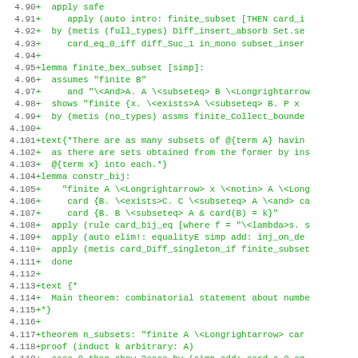[Figure (other): Code diff snippet showing Isabelle/HOL proof lines numbered 4.90 to 4.121 with green added lines]